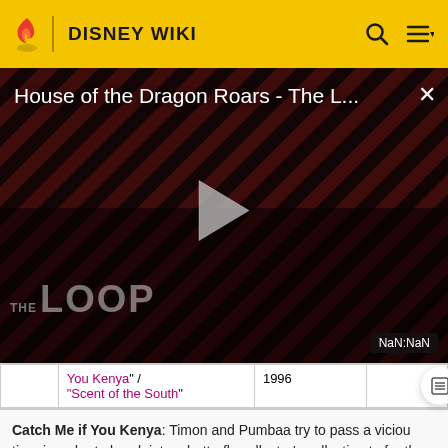DISNEY WIKI
[Figure (screenshot): Video player showing 'House of the Dragon Roars - The L...' with a play button, striped background, 'THE LOOP' text watermark, and NaN:NaN timestamp badge]
| You Kenya" / "Scent of the South" | 1996 |  |
Catch Me if You Kenya: Timon and Pumbaa try to pass a vicious tiger in order to break into a butterfly collector's collection to fre the butterflies.